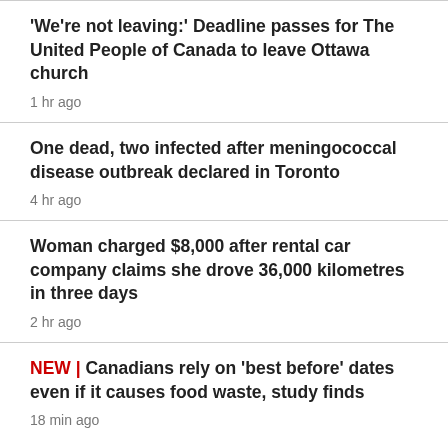'We're not leaving:' Deadline passes for The United People of Canada to leave Ottawa church
1 hr ago
One dead, two infected after meningococcal disease outbreak declared in Toronto
4 hr ago
Woman charged $8,000 after rental car company claims she drove 36,000 kilometres in three days
2 hr ago
NEW | Canadians rely on 'best before' dates even if it causes food waste, study finds
18 min ago